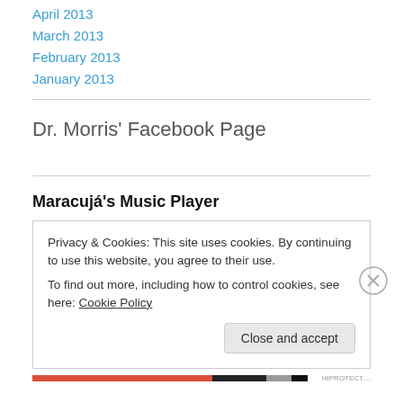April 2013
March 2013
February 2013
January 2013
Dr. Morris’ Facebook Page
Maracujá’s Music Player
Privacy & Cookies: This site uses cookies. By continuing to use this website, you agree to their use.
To find out more, including how to control cookies, see here: Cookie Policy
Close and accept